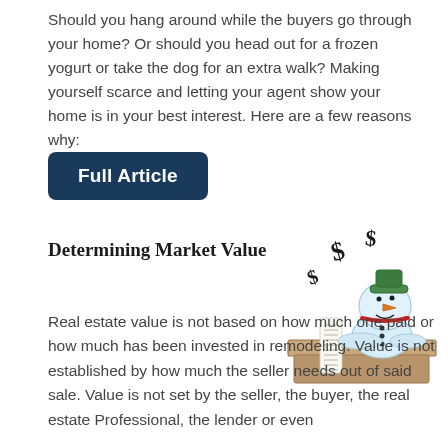Should you hang around while the buyers go through your home? Or should you head out for a frozen yogurt or take the dog for an extra walk? Making yourself scarce and letting your agent show your home is in your best interest. Here are a few reasons why:
[Figure (other): Dark blue rounded rectangle button labeled 'Full Article' in bold white text]
Determining Market Value
[Figure (illustration): Cartoon illustration of a snowman character wearing a green cap, sitting at a desk with dollar signs floating around, looking at a long receipt/list]
Real estate value is not based on how much one paid or how much has been invested in remodeling. Value is not established by how much the seller needs out of said sale. Value is not set by the seller, the buyer, the real estate Professional, the lender or even